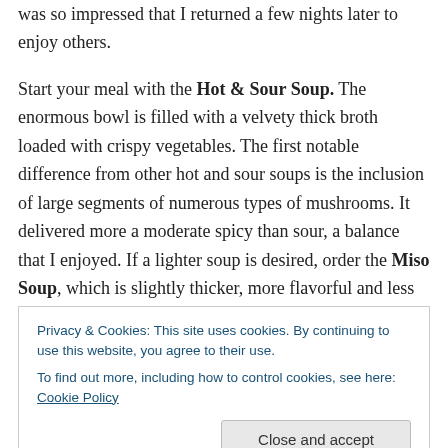was so impressed that I returned a few nights later to enjoy others.

Start your meal with the Hot & Sour Soup. The enormous bowl is filled with a velvety thick broth loaded with crispy vegetables. The first notable difference from other hot and sour soups is the inclusion of large segments of numerous types of mushrooms. It delivered more a moderate spicy than sour, a balance that I enjoyed. If a lighter soup is desired, order the Miso Soup, which is slightly thicker, more flavorful and less salty than what is commonly found
Privacy & Cookies: This site uses cookies. By continuing to use this website, you agree to their use.
To find out more, including how to control cookies, see here: Cookie Policy
[Close and accept]
My favorite smaller plate was the Yellowtail Tartare,